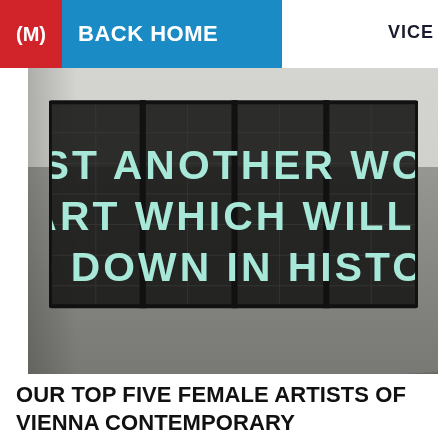(M)  BACK HOME
VICE
[Figure (photo): Gallery installation photograph showing a large grid-panel sculpture with 3D text reading 'JUST ANOTHER WORK OF ART WHICH WILL NOT GO DOWN IN HISTORY' in pale mint/turquoise letters, displayed in a white gallery room with concrete floor.]
OUR TOP FIVE FEMALE ARTISTS OF VIENNA CONTEMPORARY